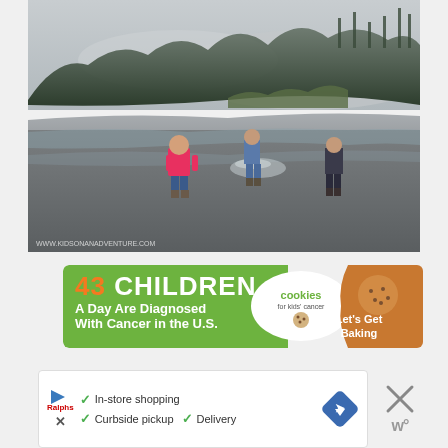[Figure (photo): Three children playing on a misty, overcast beach with wet sand. One child in a pink jacket runs in the foreground, another in blue stands in the middle, and a third in dark clothing walks on the right. A forested hillside with tall evergreen trees is visible in the background partially obscured by fog. A watermark URL is visible in the bottom left corner.]
[Figure (infographic): Advertisement banner for 'Cookies for Kids' Cancer'. Left green section reads '43 CHILDREN A Day Are Diagnosed With Cancer in the U.S.' in bold white/orange text. Center white oval contains 'cookies for kids cancer' logo. Right orange/brown cookie section reads 'Let's Get Baking'. An X close button is on the top right.]
[Figure (infographic): Advertisement banner showing a retail store ad. Left side has play button icon and a store logo (Ralphs). Center shows checkmarks with text: 'In-store shopping', 'Curbside pickup', 'Delivery'. Right side shows a blue navigation diamond arrow icon. Far right has a large X close button and what appears to be a 'w' logo below it.]